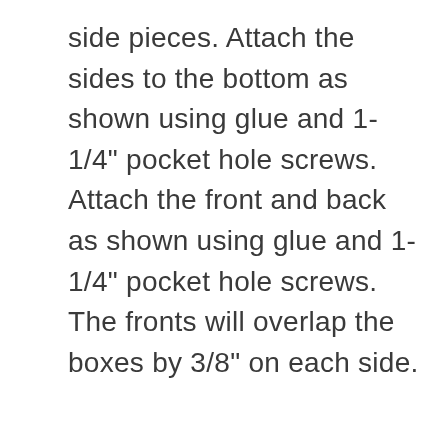side pieces. Attach the sides to the bottom as shown using glue and 1-1/4" pocket hole screws. Attach the front and back as shown using glue and 1-1/4" pocket hole screws. The fronts will overlap the boxes by 3/8" on each side.